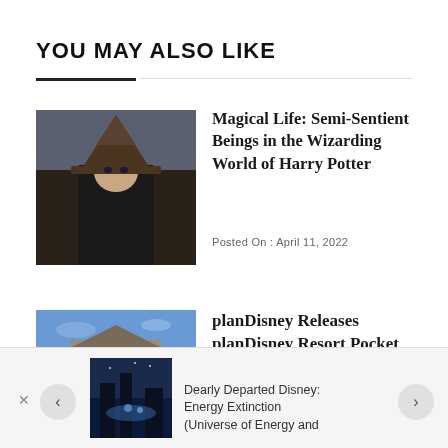YOU MAY ALSO LIKE
[Figure (photo): Harry Potter wearing the Sorting Hat, movie scene in dark robes]
Magical Life: Semi-Sentient Beings in the Wizarding World of Harry Potter
Posted On : April 11, 2022
[Figure (photo): Disney resort building exterior at dusk with blue sky]
planDisney Releases planDisney Resort Pocket
[Figure (photo): Disney attraction at night with lights]
Dearly Departed Disney: Energy Extinction (Universe of Energy and